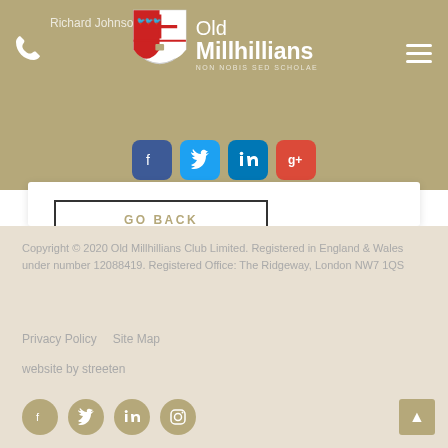Old Millhillians — Richard Johnson — NON NOBIS SED SCHOLAE
[Figure (logo): Old Millhillians shield crest logo with text Old Millhillians and motto NON NOBIS SED SCHOLAE, with social media icons (Facebook, Twitter, LinkedIn, Google+) below]
GO BACK
Copyright © 2020 Old Millhillians Club Limited. Registered in England & Wales under number 12088419. Registered Office: The Ridgeway, London NW7 1QS

Privacy Policy   Site Map

website by streeten